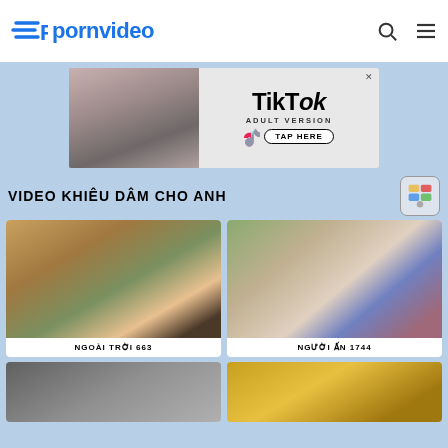[Figure (logo): Pornvideo website logo with stylized P icon in blue and site name in bold blue text]
[Figure (screenshot): TikTok Adult Version advertisement banner]
VIDEO KHIÊU DÂM CHO ANH
[Figure (photo): Outdoor video thumbnail labeled NGOÀI TRỜI 663]
[Figure (photo): Person video thumbnail labeled NGƯỜI ẤN 1744]
[Figure (photo): Bottom left video thumbnail (partial)]
[Figure (photo): Bottom right video thumbnail (partial)]